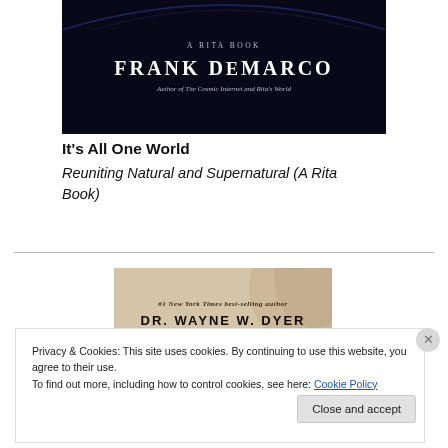[Figure (photo): Book cover for 'It's All One World' by Frank DeMarco — dark navy background with author name 'FRANK DeMARCO' in large white serif font, subtitle 'A RITA BOOK' above, and 'Author of The Cosmic Internet and Rita's World' below.]
It's All One World
Reuniting Natural and Supernatural (A Rita Book)
[Figure (photo): Book cover showing '#1 New York Times best-selling author DR. WAYNE W. DYER' text on a beige/tan background with a person's hair visible.]
Privacy & Cookies: This site uses cookies. By continuing to use this website, you agree to their use.
To find out more, including how to control cookies, see here: Cookie Policy
Close and accept